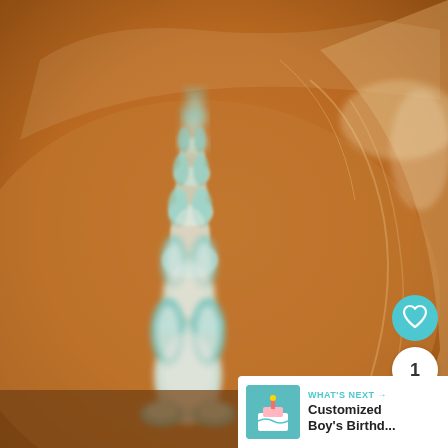[Figure (photo): Blue bunny-shaped cookies or marshmallows arranged in a row on a copper/bronze foil-lined tray, viewed from close up with shallow depth of field. The treats are light blue and white, shaped like sitting rabbits, stacked/arranged in a line receding into the background.]
[Figure (other): Heart (like) button — teal circular icon with a heart outline symbol, overlaid on the photo at right side]
1
[Figure (other): Share button — white circular icon with share/connect symbol]
WHAT'S NEXT →
Customized Boy's Birthd...